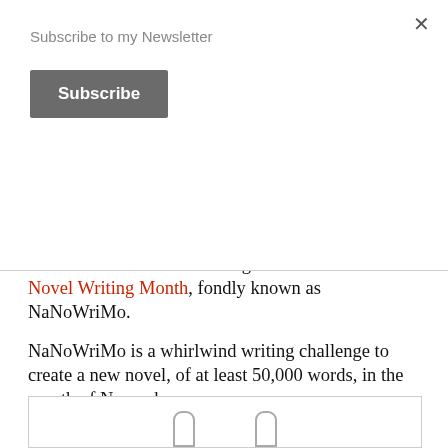Subscribe to my Newsletter
Subscribe
Will Sukey unlock hidden mysteries that lead to peace and connect her fragmented family?
This novel was created during the 2017 National Novel Writing Month, fondly known as NaNoWriMo.
NaNoWriMo is a whirlwind writing challenge to create a new novel, of at least 50,000 words, in the month of November.
[Figure (other): Bottom bar with two icon shapes visible at bottom of page]